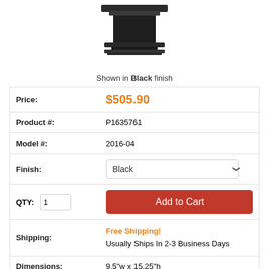[Figure (photo): Product photo of a black finish light fixture/sconce shown from front view, dark background, partial top crop]
Shown in Black finish
| Price: | $505.90 |
| Product #: | P1635761 |
| Model #: | 2016-04 |
| Finish: | Black |
| QTY: 1 | Add to Cart |
| Shipping: | Free Shipping!
Usually Ships In 2-3 Business Days |
| Dimensions: | 9.5"w x 15.25"h |
| Bulb Type: | Incandescent |